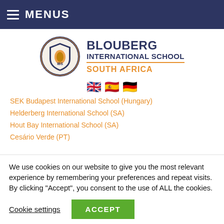MENUS
[Figure (logo): Blouberg International School circular crest logo with IBS emblem]
BLOUBERG INTERNATIONAL SCHOOL SOUTH AFRICA
[Figure (illustration): Three flag emojis: UK, Spain, Germany]
SEK Budapest International School (Hungary)
Helderberg International School (SA)
Hout Bay International School (SA)
Cesário Verde (PT)
We use cookies on our website to give you the most relevant experience by remembering your preferences and repeat visits. By clicking "Accept", you consent to the use of ALL the cookies.
Cookie settings  ACCEPT